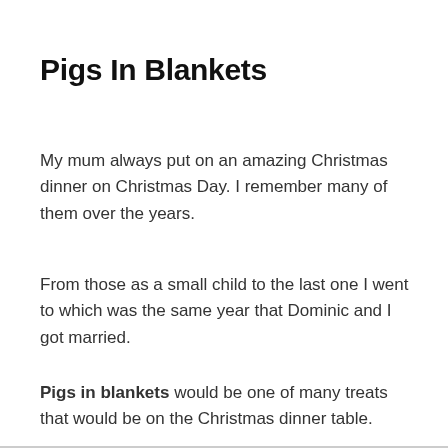Pigs In Blankets
My mum always put on an amazing Christmas dinner on Christmas Day. I remember many of them over the years.
From those as a small child to the last one I went to which was the same year that Dominic and I got married.
Pigs in blankets would be one of many treats that would be on the Christmas dinner table.